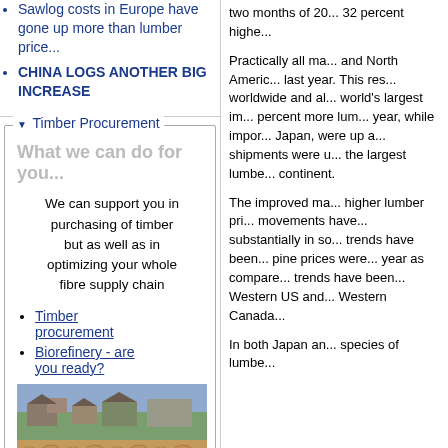Sawlog costs in Europe have gone up more than lumber price...
CHINA LOGS ANOTHER BIG INCREASE
Timber Procurement
What we can do for you...
We can support you in purchasing of timber but as well as in optimizing your whole fibre supply chain
Timber procurement
Biorefinery - are you ready?
[Figure (photo): Stacked timber logs at a forest or sawmill yard with green fields and buildings in the background]
two months of 20... 32 percent highe...
Practically all ma... and North Americ... last year. This res... worldwide and al... world's largest im... percent more lum... year, while impor... Japan, were up a... shipments were u... the largest lumbe... continent.
The improved ma... higher lumber pri... movements have... substantially in so... trends have been... pine prices were... year as compare... trends have been... Western US and... Western Canada...
In both Japan an... species of lumbe...